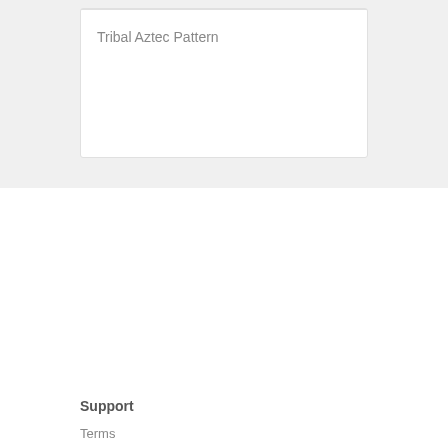Tribal Aztec Pattern
Support
Terms
Concept
COPYRIGHT INFRINGEMENT
For Your BUSINESS
Change Country
Shop
Galaxy Core prime Cases